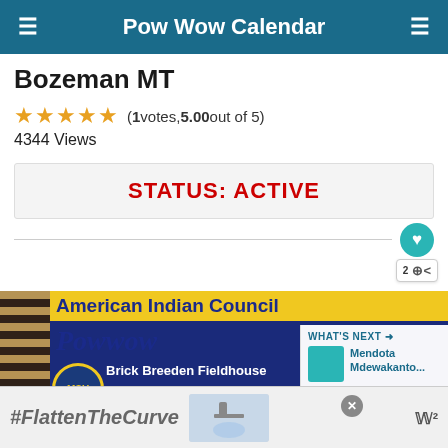Pow Wow Calendar
Bozeman MT
(1 votes, 5.00 out of 5)
4344 Views
STATUS: ACTIVE
[Figure (screenshot): Event flyer for American Indian Council Powwow at Brick Breeden Fieldhouse, March 25th & 26th, 2022, with Montana State University branding and a What's Next panel showing Mendota Mdewakanto...]
[Figure (screenshot): Advertisement banner with #FlattenTheCurve text and handwashing image]